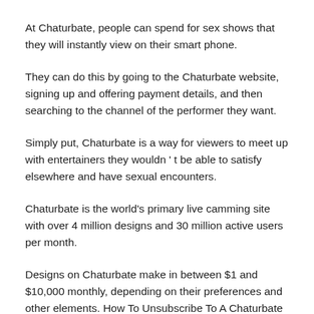At Chaturbate, people can spend for sex shows that they will instantly view on their smart phone.
They can do this by going to the Chaturbate website, signing up and offering payment details, and then searching to the channel of the performer they want.
Simply put, Chaturbate is a way for viewers to meet up with entertainers they wouldn ' t be able to satisfy elsewhere and have sexual encounters.
Chaturbate is the world's primary live camming site with over 4 million designs and 30 million active users per month.
Designs on Chaturbate make in between $1 and $10,000 monthly, depending on their preferences and other elements. How To Unsubscribe To A Chaturbate Fan